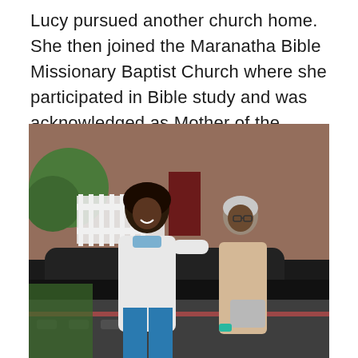Lucy pursued another church home. She then joined the Maranatha Bible Missionary Baptist Church where she participated in Bible study and was acknowledged as Mother of the Church.
[Figure (photo): Two women posing together outdoors in front of a brick building and a black car. A younger woman in a white hoodie and blue jeans stands on the left with her arm around an elderly woman wearing a beige coat and carrying a silver purse on the right.]